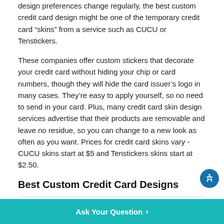design preferences change regularly, the best custom credit card design might be one of the temporary credit card “skins” from a service such as CUCU or Tenstickers.
These companies offer custom stickers that decorate your credit card without hiding your chip or card numbers, though they will hide the card issuer’s logo in many cases. They’re easy to apply yourself, so no need to send in your card. Plus, many credit card skin design services advertise that their products are removable and leave no residue, so you can change to a new look as often as you want. Prices for credit card skins vary - CUCU skins start at $5 and Tenstickers skins start at $2.50.
Best Custom Credit Card Designs
[Figure (other): Wells Fargo Active Cash credit card image - dark metallic card with chip and Visa logo]
Best Overall: Wells Fargo Active Cash® Card
Ask Your Question >